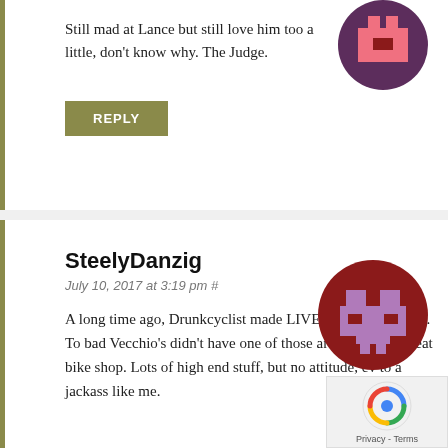Still mad at Lance but still love him too a little, don't know why. The Judge.
REPLY
SteelyDanzig
July 10, 2017 at 3:19 pm #
A long time ago, Drunkcyclist made LIVEWRONG stickers. To bad Vecchio's didn't have one of those around. It is a great bike shop. Lots of high end stuff, but no attitude, ev to a jackass like me.